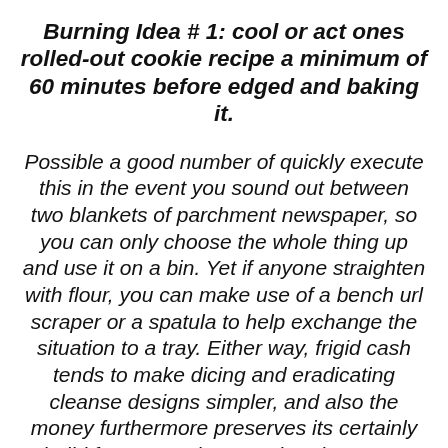Burning Idea # 1: cool or act ones rolled-out cookie recipe a minimum of 60 minutes before edged and baking it.
Possible a good number of quickly execute this in the event you sound out between two blankets of parchment newspaper, so you can only choose the whole thing up and use it on a bin. Yet if anyone straighten with flour, you can make use of a bench url scraper or a spatula to help exchange the situation to a tray. Either way, frigid cash tends to make dicing and eradicating cleanse designs simpler, and also the money furthermore preserves its certainly build fortunate whenever burning. Must continue to have issues with recipe staying, sustain just a little hand off and tofficinib or add b